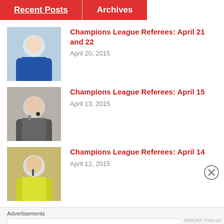Recent Posts | Archives
Champions League Referees: April 21 and 22
April 20, 2015
Champions League Referees: April 15
April 13, 2015
Champions League Referees: April 14
April 12, 2015
Advertisements
[Figure (logo): Automattic logo with tagline: Build a better web and a better world.]